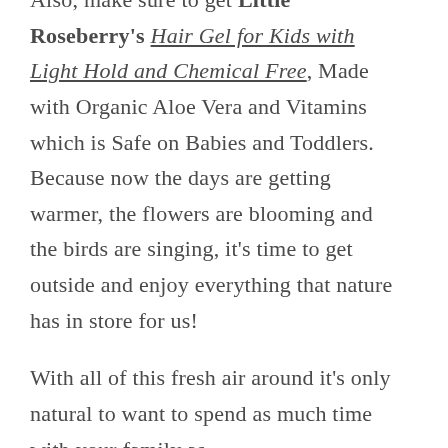Also, make sure to get Little Roseberry's Hair Gel for Kids with Light Hold and Chemical Free, Made with Organic Aloe Vera and Vitamins which is Safe on Babies and Toddlers.  Because now the days are getting warmer, the flowers are blooming and the birds are singing, it's time to get outside and enjoy everything that nature has in store for us!

With all of this fresh air around it's only natural to want to spend as much time with your family as